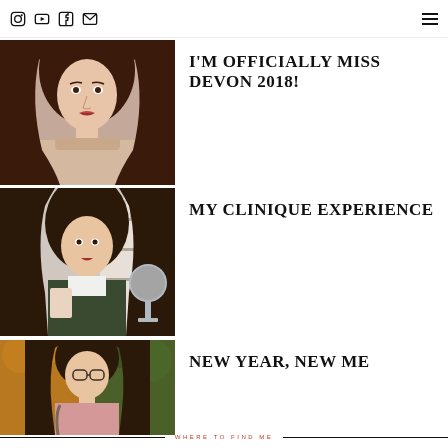Navigation bar with Instagram, YouTube, Facebook, Email icons and blog title
[Figure (photo): Young brunette woman with red lipstick wearing a lace/embroidered neckline top, posing for a portrait photo]
I'M OFFICIALLY MISS DEVON 2018!
[Figure (photo): Young brunette woman standing in what appears to be a cosmetics store, holding a small item, wearing a dark green cardigan over a white top]
MY CLINIQUE EXPERIENCE
[Figure (photo): Young brunette woman wearing glasses and a pink top, standing in front of autumn foliage/hedges, carrying a bag]
NEW YEAR, NEW ME
WHERE TO FIND ME